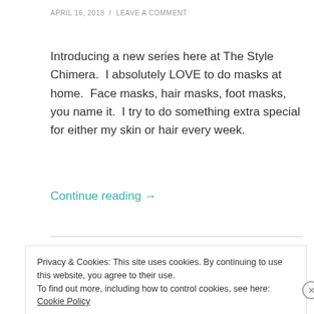APRIL 16, 2018  /  LEAVE A COMMENT
Introducing a new series here at The Style Chimera.  I absolutely LOVE to do masks at home.  Face masks, hair masks, foot masks, you name it.  I try to do something extra special for either my skin or hair every week.
Continue reading →
Privacy & Cookies: This site uses cookies. By continuing to use this website, you agree to their use.
To find out more, including how to control cookies, see here: Cookie Policy
Close and accept